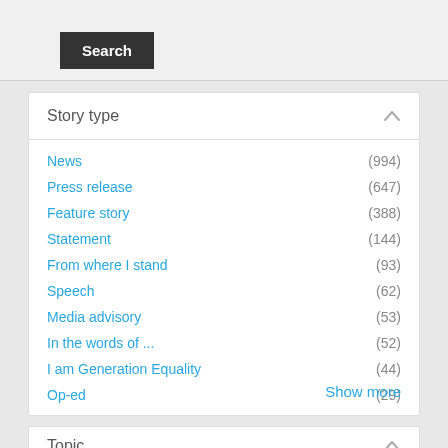Search
Story type
News (994)
Press release (647)
Feature story (388)
Statement (144)
From where I stand (93)
Speech (62)
Media advisory (53)
In the words of ... (52)
I am Generation Equality (44)
Op-ed (29)
Show more
Topic